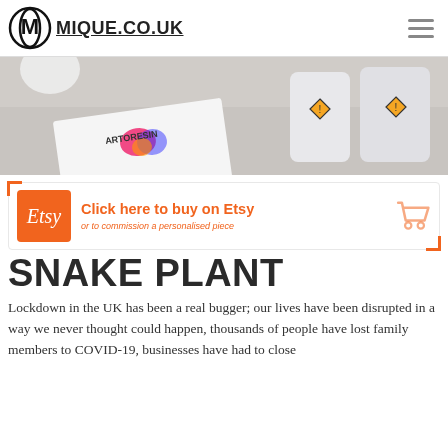MIQUE.CO.UK
[Figure (photo): Photo of art resin product packaging and bottles on a white surface]
[Figure (infographic): Etsy banner: orange Etsy logo box, text 'Click here to buy on Etsy' and 'or to commission a personalised piece' with shopping cart icon]
SNAKE PLANT
Lockdown in the UK has been a real bugger; our lives have been disrupted in a way we never thought could happen, thousands of people have lost family members to COVID-19, businesses have had to close